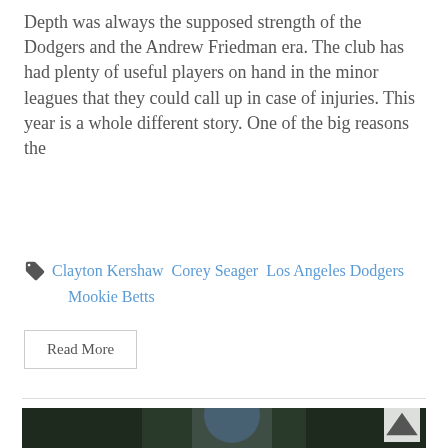Depth was always the supposed strength of the Dodgers and the Andrew Friedman era. The club has had plenty of useful players on hand in the minor leagues that they could call up in case of injuries. This year is a whole different story. One of the big reasons the
Clayton Kershaw  Corey Seager  Los Angeles Dodgers  Mookie Betts
Read More
[Figure (photo): A baseball player wearing a Los Angeles Dodgers uniform and blue helmet, adjusting his helmet with his right hand, photographed against a dark green background.]